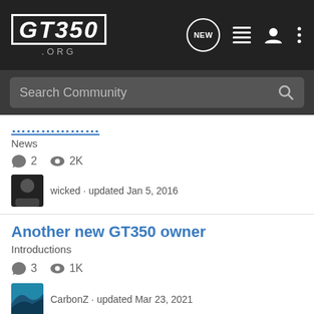GT350.ORG navigation header with logo, NEW posts icon, list icon, user icon, and more options
Search Community
[partial thread title] · News · 2 comments · 2K views · wicked · updated Jan 5, 2016
Another new GT350 owner
Introductions
3 comments · 1K views · CarbonZ · updated Mar 23, 2021
New guy
Introductions